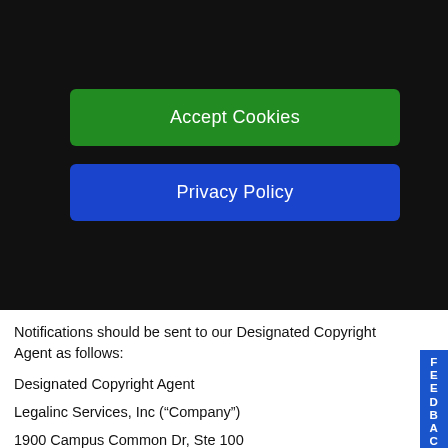[Figure (screenshot): Green 'Accept Cookies' button on dark background]
[Figure (screenshot): Blue 'Privacy Policy' button on dark background]
Notifications should be sent to our Designated Copyright Agent as follows:
Designated Copyright Agent
Legalinc Services, Inc (“Company”)
1900 Campus Common Dr, Ste 100
Reston, VA 20191
Email: info@legalinc.com
Phone: (844) 386-0178
We also will advise the alleged infringer of the DMCA statutory Counter Notification procedure described below by which the alleged infringer may respond to your claim and request that we restore this material.